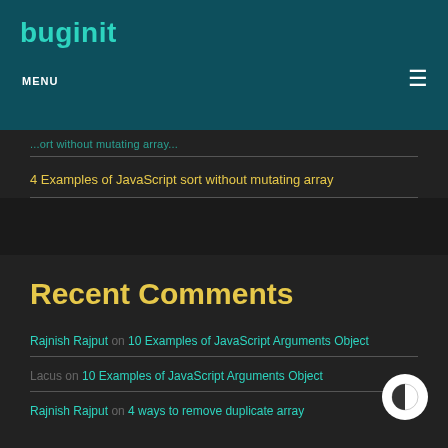buginit — MENU (navigation bar)
4 Examples of JavaScript sort without mutating array
Recent Comments
Rajnish Rajput on 10 Examples of JavaScript Arguments Object
Lacus on 10 Examples of JavaScript Arguments Object
Rajnish Rajput on 4 ways to remove duplicate array